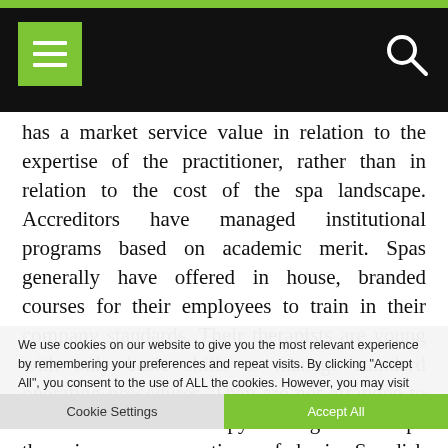Navigation bar with menu and search icons
has a market service value in relation to the expertise of the practitioner, rather than in relation to the cost of the spa landscape. Accreditors have managed institutional programs based on academic merit. Spas generally have offered in house, branded courses for their employees to train in their company standards. Their therapists are young with only basic skills to manage standard operating procedures. They are not arranged to assess and did the therapy clinic give vels Spa therapies cover practises of basic Swedish massage and also of massage traditions as ayurveda, balinese, thai, shiatsu and reflexology. These massages have been arranged into services in spa menus that support wellness and a luxurious lifestyle. Pools, aqua aerobics, watsu,
We use cookies on our website to give you the most relevant experience by remembering your preferences and repeat visits. By clicking "Accept All", you consent to the use of ALL the cookies. However, you may visit "Cookie Settings" to provide a controlled consent.
Cookie Settings    Accept All